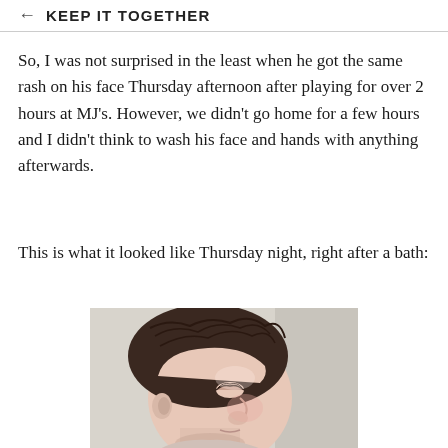← KEEP IT TOGETHER
So, I was not surprised in the least when he got the same rash on his face Thursday afternoon after playing for over 2 hours at MJ's. However, we didn't go home for a few hours and I didn't think to wash his face and hands with anything afterwards.
This is what it looked like Thursday night, right after a bath:
[Figure (photo): Close-up profile photo of a young child with wet dark hair, taken after a bath, showing the side of the child's face and ear area]